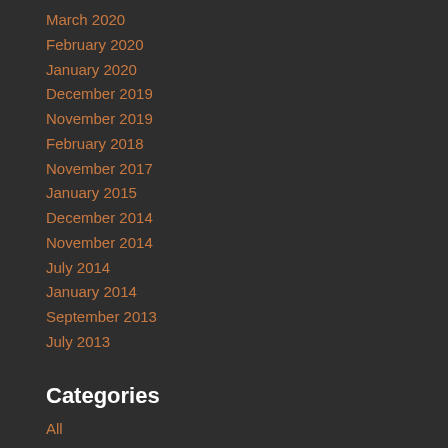March 2020
February 2020
January 2020
December 2019
November 2019
February 2018
November 2017
January 2015
December 2014
November 2014
July 2014
January 2014
September 2013
July 2013
Categories
All
Arts Scene
Community
Education
Entrepreneurs